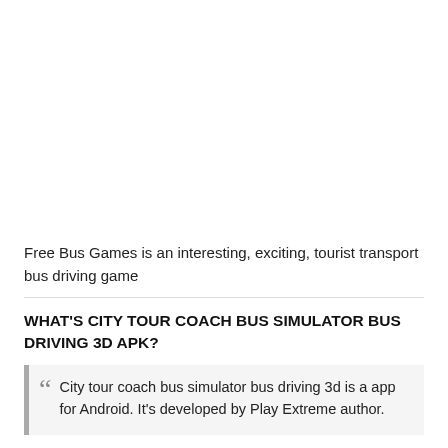[Figure (other): Blank white area at top of page, likely an image placeholder or advertisement area]
Free Bus Games is an interesting, exciting, tourist transport bus driving game
WHAT'S CITY TOUR COACH BUS SIMULATOR BUS DRIVING 3D APK?
City tour coach bus simulator bus driving 3d is a app for Android. It's developed by Play Extreme author.